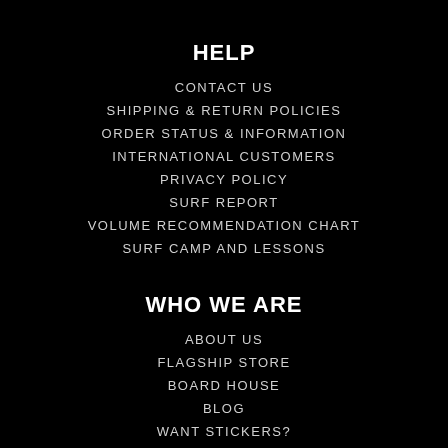HELP
CONTACT US
SHIPPING & RETURN POLICIES
ORDER STATUS & INFORMATION
INTERNATIONAL CUSTOMERS
PRIVACY POLICY
SURF REPORT
VOLUME RECOMMENDATION CHART
SURF CAMP AND LESSONS
WHO WE ARE
ABOUT US
FLAGSHIP STORE
BOARD HOUSE
BLOG
WANT STICKERS?